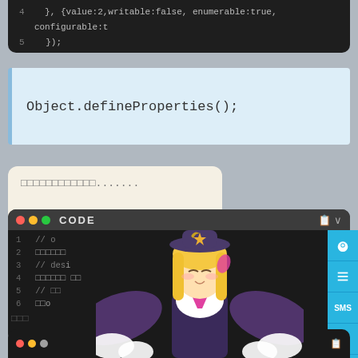[Figure (screenshot): Top dark code block showing lines 4-5 with JavaScript Object.defineProperty code, partially visible]
[Figure (screenshot): Light blue panel showing Object.defineProperties(); method signature]
[Figure (screenshot): Beige search/input box with garbled Japanese/Unicode placeholder text and ellipsis]
[Figure (screenshot): Dark code panel with CODE header and traffic-light dots, showing 6 lines of mixed JavaScript comments and garbled Unicode text, overlaid with anime character illustration of a blonde girl with bat wings and steampunk hat]
[Figure (screenshot): Bottom cropped dark code panel with traffic light dots and copy icon]
[Figure (screenshot): Right sidebar with cyan/blue buttons for settings, list, SMS, chat, and scroll-up]